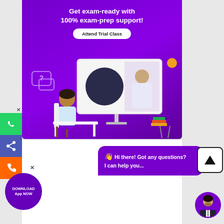[Figure (illustration): Educational platform promotional banner with purple background showing a student at a desk using an online learning platform with a teacher on screen. Text reads 'Get exam-ready with 100% exam-prep support!' and a white pill button 'Attend Trial Class'.]
Get exam-ready with 100% exam-prep support!
Attend Trial Class
[Figure (illustration): Chat bubble with wave emoji saying 'Hi there! Got any questions? I can help you...' on purple background]
Hi there! Got any questions? I can help you...
[Figure (illustration): Side bar with WhatsApp green button, share blue button, and phone orange button. Close X above.]
[Figure (illustration): Download App NOW purple circle button at bottom left with close X]
DOWNLOAD App NOW
[Figure (illustration): Yellow/orange chat/phone icon at bottom center and circular avatar of a man in suit at bottom right]